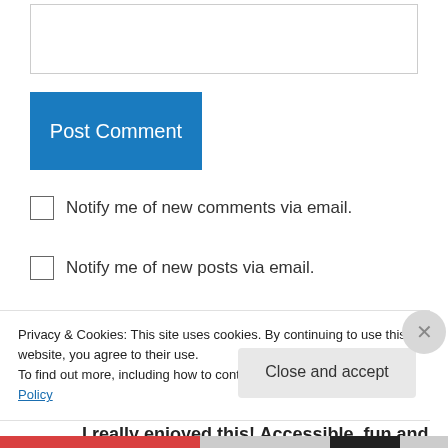[Figure (screenshot): Text input area / textarea box at top of page]
Post Comment
Notify me of new comments via email.
Notify me of new posts via email.
gojonesy on August 21, 2011 at 10:27 pm
I really enjoyed this! Accessible, fun and
Privacy & Cookies: This site uses cookies. By continuing to use this website, you agree to their use.
To find out more, including how to control cookies, see here: Cookie Policy
Close and accept